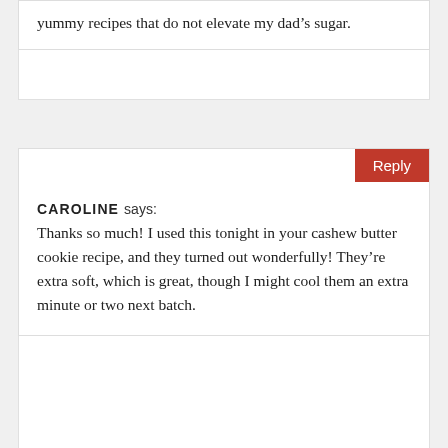yummy recipes that do not elevate my dad’s sugar.
Reply
CAROLINE says:
Thanks so much! I used this tonight in your cashew butter cookie recipe, and they turned out wonderfully! They’re extra soft, which is great, though I might cool them an extra minute or two next batch.
Reply
HEATHER MCCLEES says:
I love this recipe! I’m a huge believer in the benefits of dates: they’ve done wonders for my digestion and energy levels. Just two a day makes a huge difference for me. I also prefer the flavor of dates in recipes versus other